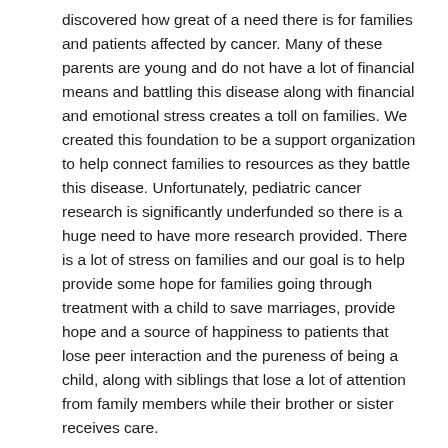discovered how great of a need there is for families and patients affected by cancer. Many of these parents are young and do not have a lot of financial means and battling this disease along with financial and emotional stress creates a toll on families. We created this foundation to be a support organization to help connect families to resources as they battle this disease. Unfortunately, pediatric cancer research is significantly underfunded so there is a huge need to have more research provided. There is a lot of stress on families and our goal is to help provide some hope for families going through treatment with a child to save marriages, provide hope and a source of happiness to patients that lose peer interaction and the pureness of being a child, along with siblings that lose a lot of attention from family members while their brother or sister receives care.